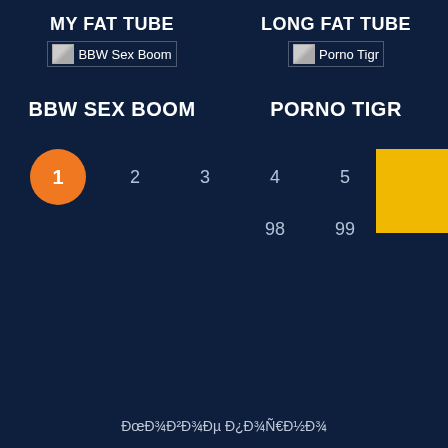MY FAT TUBE
[Figure (other): Broken image placeholder labeled BBW Sex Boom]
LONG FAT TUBE
[Figure (other): Broken image placeholder labeled Porno Tigr]
BBW SEX BOOM
PORNO TIGR
1 2 3 4 5 6 7 (pagination with page 1 active/highlighted in orange circle)
98 99
[Figure (other): Yellow/gold rectangle on right side]
ĐœĐ¾Đ²Đ¾Đµ Đ¿Đ¾Ñ€Đ½Đ¾